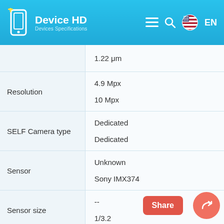Device HD – Devices Specifications
| Specification | Value |
| --- | --- |
|  | 1.22 μm |
| Resolution | 4.9 Mpx
10 Mpx |
| SELF Camera type | Dedicated
Dedicated |
| Sensor | Unknown
Sony IMX374 |
| Sensor size | --
1/3.2 |
| Type | -- |